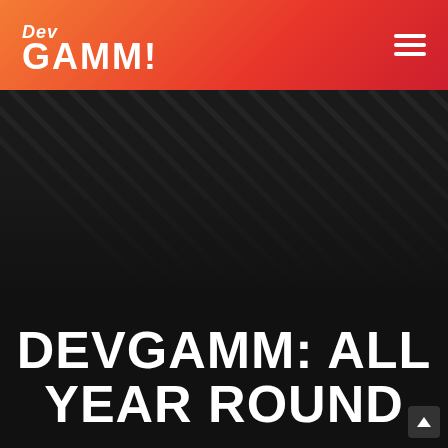Dev GAMM! [logo] [hamburger menu]
DEVGAMM: ALL YEAR ROUND